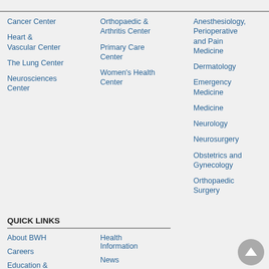Cancer Center
Heart & Vascular Center
The Lung Center
Neurosciences Center
Orthopaedic & Arthritis Center
Primary Care Center
Women's Health Center
Anesthesiology, Perioperative and Pain Medicine
Dermatology
Emergency Medicine
Medicine
Neurology
Neurosurgery
Obstetrics and Gynecology
Orthopaedic Surgery
Pathology
Pediatric Newborn Medicine
Physical Medicine and Rehabilitation
Psychiatry
Radiation Oncology
Radiology
Surgery
QUICK LINKS
About BWH
Careers
Education &
Health Information
News